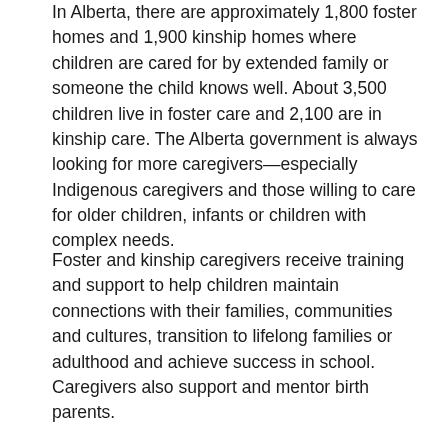In Alberta, there are approximately 1,800 foster homes and 1,900 kinship homes where children are cared for by extended family or someone the child knows well. About 3,500 children live in foster care and 2,100 are in kinship care. The Alberta government is always looking for more caregivers—especially Indigenous caregivers and those willing to care for older children, infants or children with complex needs.
Foster and kinship caregivers receive training and support to help children maintain connections with their families, communities and cultures, transition to lifelong families or adulthood and achieve success in school. Caregivers also support and mentor birth parents.